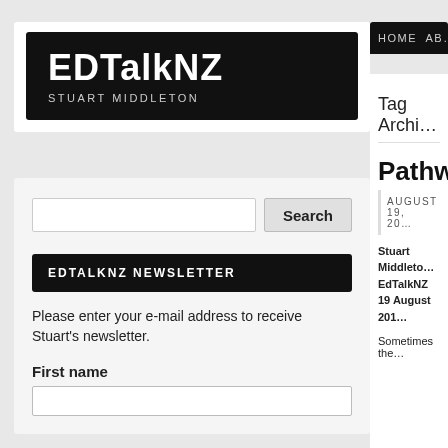EDTalkNZ
STUART MIDDLETON
Search
EDTALKNZ NEWSLETTER
Please enter your e-mail address to receive Stuart's newsletter.
First name
HOME AB…
Tag Archi…
Pathway…
AUGUST 19, 20…
Stuart Middleto… EdTalkNZ 19 August 201…
Sometimes the…